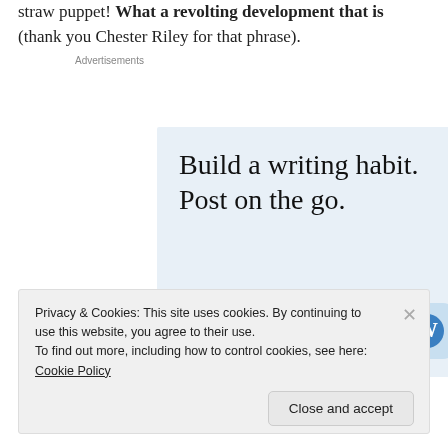straw puppet! What a revolting development that is (thank you Chester Riley for that phrase).
[Figure (screenshot): WordPress advertisement: 'Build a writing habit. Post on the go.' with GET THE APP call-to-action and WordPress logo icon on light blue background.]
Privacy & Cookies: This site uses cookies. By continuing to use this website, you agree to their use.
To find out more, including how to control cookies, see here: Cookie Policy
Close and accept